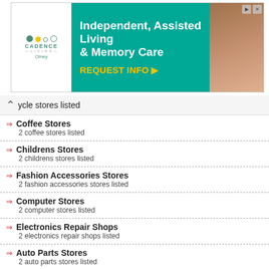[Figure (infographic): Advertisement banner for Cadence Living Olney — Independent, Assisted Living & Memory Care with REQUEST INFO call to action on teal background]
ycle stores listed
Coffee Stores — 2 coffee stores listed
Childrens Stores — 2 childrens stores listed
Fashion Accessories Stores — 2 fashion accessories stores listed
Computer Stores — 2 computer stores listed
Electronics Repair Shops — 2 electronics repair shops listed
Auto Parts Stores — 2 auto parts stores listed
Shopping Malls — 2 shopping malls listed
Stamp Shops — 2 stamp shops listed
Tuxedo Shops — 2 tuxedo shops listed